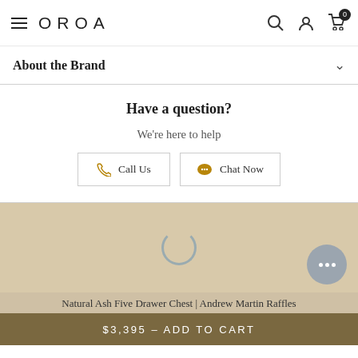OROA
About the Brand
Have a question?
We're here to help
Call Us
Chat Now
[Figure (screenshot): Product image loading area with tan/beige background and loading spinner]
Natural Ash Five Drawer Chest | Andrew Martin Raffles
$3,395 - ADD TO CART